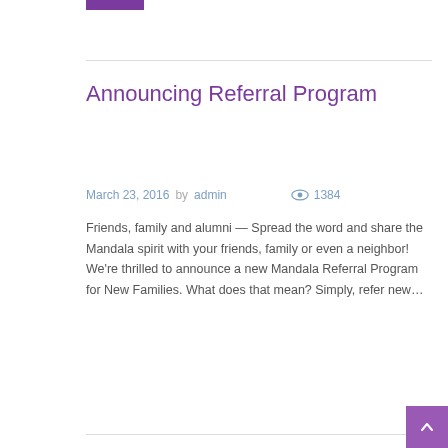Announcing Referral Program
March 23, 2016  by  admin   1384
Friends, family and alumni — Spread the word and share the Mandala spirit with your friends, family or even a neighbor! We're thrilled to announce a new Mandala Referral Program for New Families. What does that mean? Simply, refer new…
More